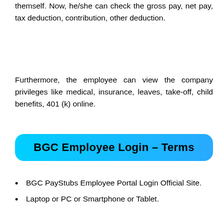themself. Now, he/she can check the gross pay, net pay, tax deduction, contribution, other deduction.
Furthermore, the employee can view the company privileges like medical, insurance, leaves, take-off, child benefits, 401 (k) online.
BGC Employee Login – Terms
BGC PayStubs Employee Portal Login Official Site.
Laptop or PC or Smartphone or Tablet.